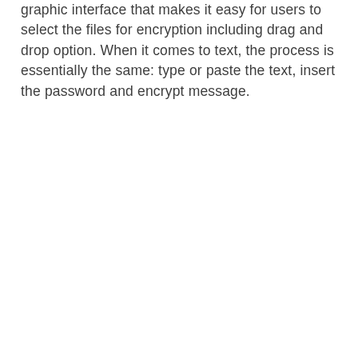graphic interface that makes it easy for users to select the files for encryption including drag and drop option. When it comes to text, the process is essentially the same: type or paste the text, insert the password and encrypt message.